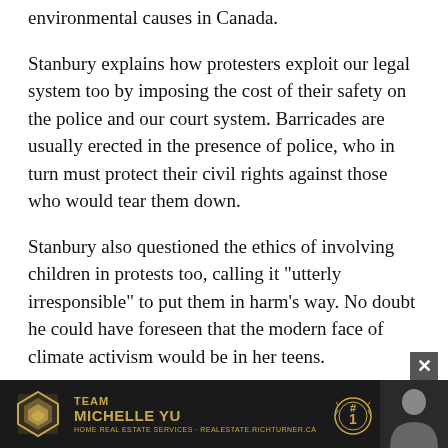environmental causes in Canada.
Stanbury explains how protesters exploit our legal system too by imposing the cost of their safety on the police and our court system. Barricades are usually erected in the presence of police, who in turn must protect their civil rights against those who would tear them down.
Stanbury also questioned the ethics of involving children in protests too, calling it “urterly irresponsible” to put them in harm’s way. No doubt he could have foreseen that the modern face of climate activism would be in her teens.
It’s as if Canadians are resigned to this loss of our sovereignty. As Stanbury noted back in 2000, “the transient legion of activists” taking up their fight on our streets and rail right-of-ways have made our country a “global battlefield”
[Figure (infographic): RE/MAX Team Michelle Yu advertisement banner with gold logo, #1 award medallion, and agent photo]